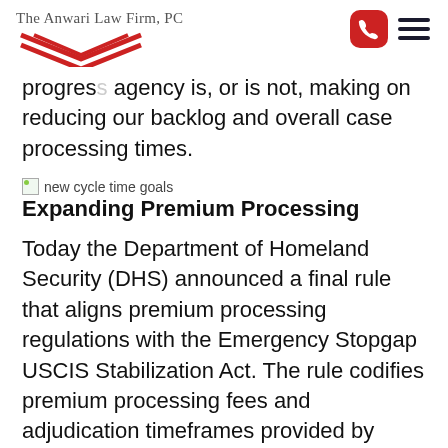The Anwari Law Firm, PC
progress agency is, or is not, making on reducing our backlog and overall case processing times.
[Figure (illustration): Broken image placeholder with alt text 'new cycle time goals']
Expanding Premium Processing
Today the Department of Homeland Security (DHS) announced a final rule that aligns premium processing regulations with the Emergency Stopgap USCIS Stabilization Act. The rule codifies premium processing fees and adjudication timeframes provided by Congress.
Premium processing is an expedited